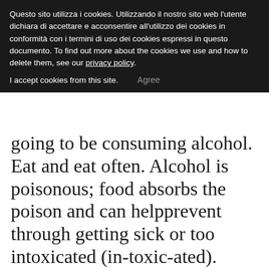Questo sito utilizza i cookies. Utilizzando il nostro sito web l'utente dichiara di accettare e acconsentire all'utilizzo dei cookies in conformità con i termini di uso dei cookies espressi in questo documento. To find out more about the cookies we use and how to delete them, see our privacy policy.
I accept cookies from this site.   Agree
going to be consuming alcohol. Eat and eat often. Alcohol is poisonous; food absorbs the poison and can helpprevent through getting sick or too intoxicated (in-toxic-ated).
Are there advantages/disadvantages in managing this router